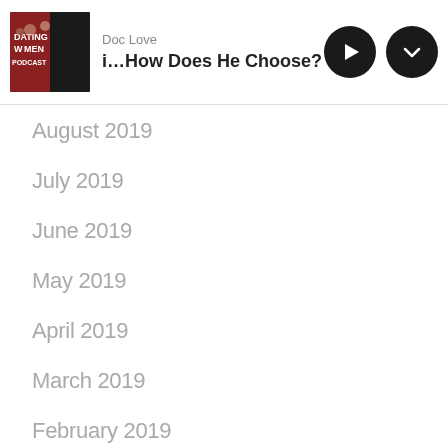Doc Love — ...How Does He Choose? 3 Wo
August 2019
July 2019
June 2019
May 2019
April 2019
March 2019
February 2019
January 2019
December 2018